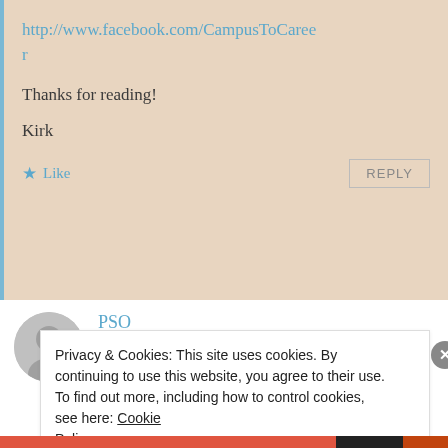http://www.facebook.com/CampusToCareer
Thanks for reading!
Kirk
★ Like
REPLY
PSO
JULY 7, 2010 AT 7:47 AM
Privacy & Cookies: This site uses cookies. By continuing to use this website, you agree to their use.
To find out more, including how to control cookies, see here: Cookie Policy
Close and accept